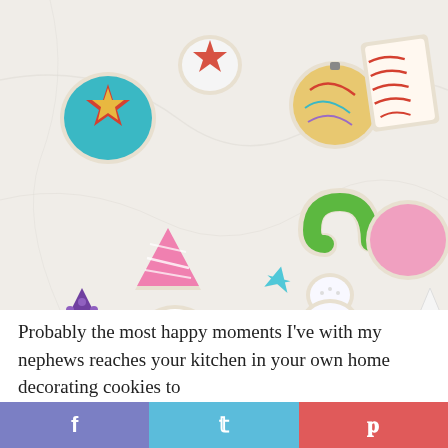[Figure (photo): Overhead flat-lay photo of assorted decorated Christmas sugar cookies on a white marble surface. Cookies include stars, snowflakes, trees, candy canes, snowmen, ornaments, and rectangular shapes, decorated with colorful icing in pink, blue, green, red, purple, and gold.]
Probably the most happy moments I've with my nephews reaches your kitchen in your own home decorating cookies to